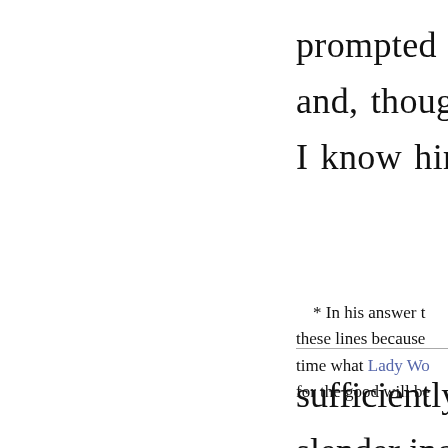prompted them and, though no I know him
* In his answer t these lines because time what Lady Wo for the good will be
sufficiently to slender income